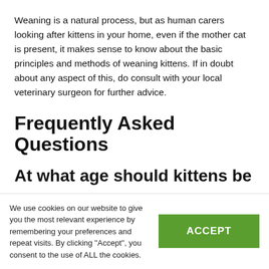Weaning is a natural process, but as human carers looking after kittens in your home, even if the mother cat is present, it makes sense to know about the basic principles and methods of weaning kittens. If in doubt about any aspect of this, do consult with your local veterinary surgeon for further advice.
Frequently Asked Questions
At what age should kittens be
We use cookies on our website to give you the most relevant experience by remembering your preferences and repeat visits. By clicking ''Accept'', you consent to the use of ALL the cookies.